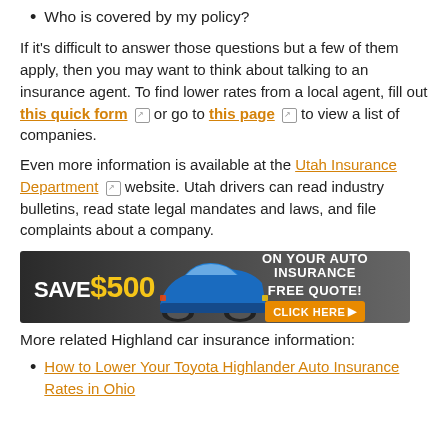Who is covered by my policy?
If it's difficult to answer those questions but a few of them apply, then you may want to think about talking to an insurance agent. To find lower rates from a local agent, fill out this quick form or go to this page to view a list of companies.
Even more information is available at the Utah Insurance Department website. Utah drivers can read industry bulletins, read state legal mandates and laws, and file complaints about a company.
[Figure (infographic): Advertisement banner: 'SAVE $500 ON YOUR AUTO INSURANCE' with a blue sports car image and a 'FREE QUOTE! CLICK HERE ▶' orange button on a dark background.]
More related Highland car insurance information:
How to Lower Your Toyota Highlander Auto Insurance Rates in Ohio